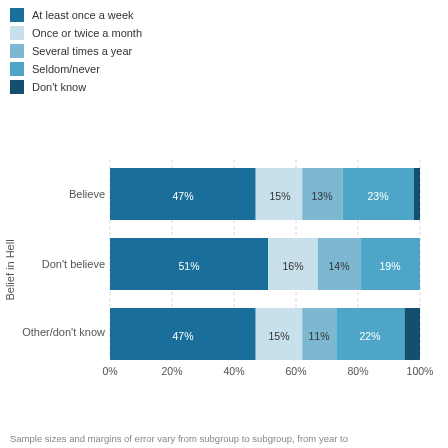[Figure (stacked-bar-chart): ]
Sample sizes and margins of error vary from subgroup to subgroup, from year to